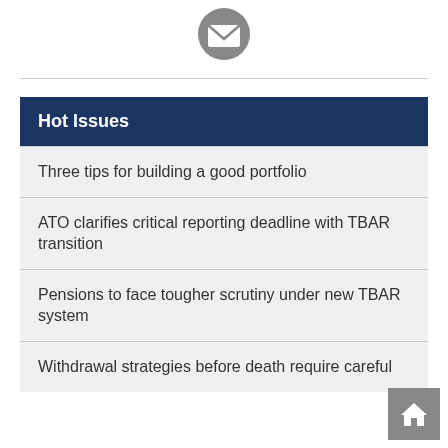[Figure (illustration): Grey circular email envelope icon]
Hot Issues
Three tips for building a good portfolio
ATO clarifies critical reporting deadline with TBAR transition
Pensions to face tougher scrutiny under new TBAR system
Withdrawal strategies before death require careful